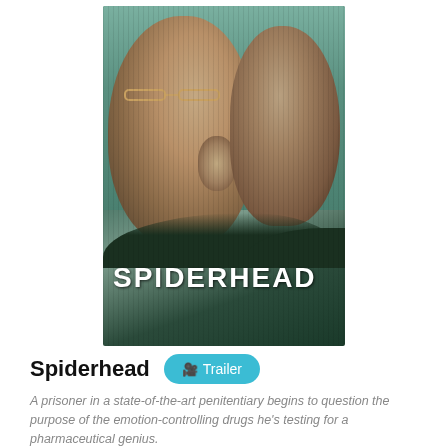[Figure (photo): Movie poster for Spiderhead showing two male actors' faces and the title SPIDERHEAD in bold white text against a teal/green background with vertical line effects and an island silhouette at the bottom.]
Spiderhead
A prisoner in a state-of-the-art penitentiary begins to question the purpose of the emotion-controlling drugs he’s testing for a pharmaceutical genius.
Genre : Action, Crime, Drama, Sci-
Duration: 107 min